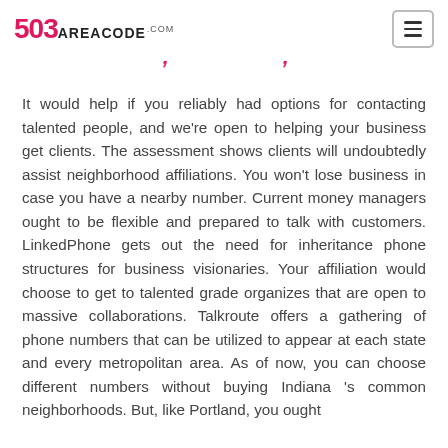503areacode.com
...
It would help if you reliably had options for contacting talented people, and we're open to helping your business get clients. The assessment shows clients will undoubtedly assist neighborhood affiliations. You won't lose business in case you have a nearby number. Current money managers ought to be flexible and prepared to talk with customers. LinkedPhone gets out the need for inheritance phone structures for business visionaries. Your affiliation would choose to get to talented grade organizes that are open to massive collaborations. Talkroute offers a gathering of phone numbers that can be utilized to appear at each state and every metropolitan area. As of now, you can choose different numbers without buying Indiana 's common neighborhoods. But, like Portland, you ought